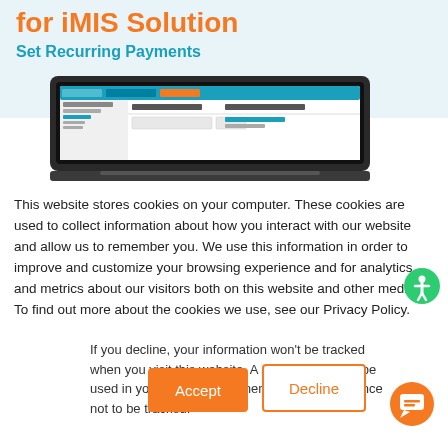for iMIS Solution
Set Recurring Payments
[Figure (screenshot): Screenshot of iMIS software interface showing a laptop with member profile page displaying 'My current billing' and 'My chapters and sections' panels]
This website stores cookies on your computer. These cookies are used to collect information about how you interact with our website and allow us to remember you. We use this information in order to improve and customize your browsing experience and for analytics and metrics about our visitors both on this website and other media. To find out more about the cookies we use, see our Privacy Policy.
If you decline, your information won't be tracked when you visit this website. A single cookie will be used in your browser to remember your preference not to be tracked.
Accept
Decline